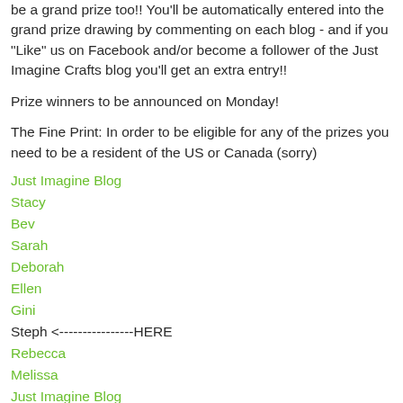be a grand prize too!! You'll be automatically entered into the grand prize drawing by commenting on each blog - and if you "Like" us on Facebook and/or become a follower of the Just Imagine Crafts blog you'll get an extra entry!!
Prize winners to be announced on Monday!
The Fine Print: In order to be eligible for any of the prizes you need to be a resident of the US or Canada (sorry)
Just Imagine Blog
Stacy
Bev
Sarah
Deborah
Ellen
Gini
Steph <----------------HERE
Rebecca
Melissa
Just Imagine Blog